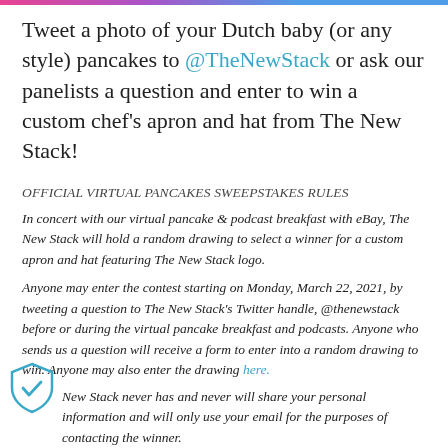Tweet a photo of your Dutch baby (or any style) pancakes to @TheNewStack or ask our panelists a question and enter to win a custom chef's apron and hat from The New Stack!
OFFICIAL VIRTUAL PANCAKES SWEEPSTAKES RULES
In concert with our virtual pancake & podcast breakfast with eBay, The New Stack will hold a random drawing to select a winner for a custom apron and hat featuring The New Stack logo.
Anyone may enter the contest starting on Monday, March 22, 2021, by tweeting a question to The New Stack's Twitter handle, @thenewstack before or during the virtual pancake breakfast and podcasts. Anyone who sends us a question will receive a form to enter into a random drawing to win. Anyone may also enter the drawing here.
The New Stack never has and never will share your personal information and will only use your email for the purposes of contacting the winner.